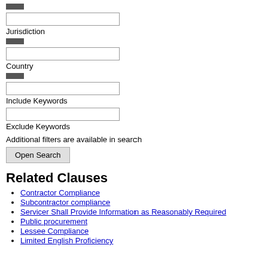Jurisdiction
Country
Include Keywords
Exclude Keywords
Additional filters are available in search
Open Search
Related Clauses
Contractor Compliance
Subcontractor compliance
Servicer Shall Provide Information as Reasonably Required
Public procurement
Lessee Compliance
Limited English Proficiency